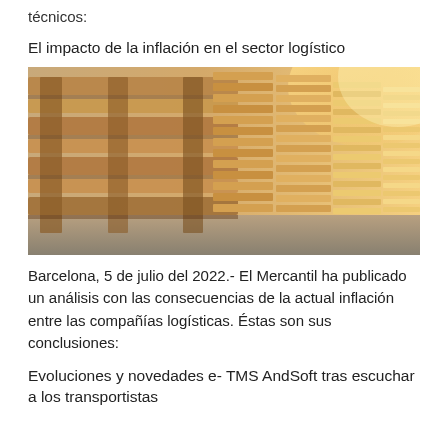técnicos:
El impacto de la inflación en el sector logístico
[Figure (photo): Stacks of wooden pallets in a warehouse, with sunlight coming through in the background. Close-up view of pallet structure on the left, stacked pallets receding into the background on the right.]
Barcelona, 5 de julio del 2022.- El Mercantil ha publicado un análisis con las consecuencias de la actual inflación entre las compañías logísticas. Éstas son sus conclusiones:
Evoluciones y novedades e- TMS AndSoft tras escuchar a los transportistas